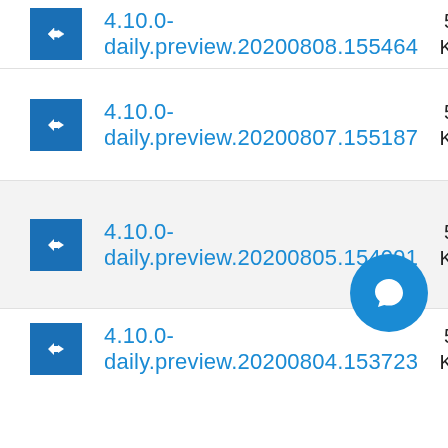4.10.0-daily.preview.20200808.155464
4.10.0-daily.preview.20200807.155187
4.10.0-daily.preview.20200805.154091
4.10.0-daily.preview.20200804.153723